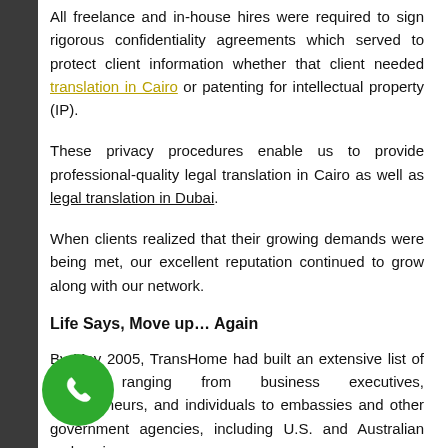All freelance and in-house hires were required to sign rigorous confidentiality agreements which served to protect client information whether that client needed translation in Cairo or patenting for intellectual property (IP).
These privacy procedures enable us to provide professional-quality legal translation in Cairo as well as legal translation in Dubai.
When clients realized that their growing demands were being met, our excellent reputation continued to grow along with our network.
Life Says, Move up… Again
By May 2005, TransHome had built an extensive list of clients ranging from business executives, entrepreneurs, and individuals to embassies and other government agencies, including U.S. and Australian embassies.
[Figure (other): Green circular phone/call button icon in the bottom-left corner]